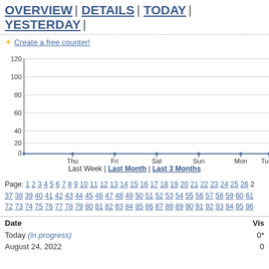OVERVIEW | DETAILS | TODAY | YESTERDAY |
✦ Create a free counter!
[Figure (line-chart): Visits over time]
Last Week | Last Month | Last 3 Months
Page: 1 2 3 4 5 6 7 8 9 10 11 12 13 14 15 16 17 18 19 20 21 22 23 24 25 26 2... 37 38 39 40 41 42 43 44 45 46 47 48 49 50 51 52 53 54 55 56 57 58 59 60 61... 72 73 74 75 76 77 78 79 80 81 82 83 84 85 86 87 88 89 90 91 92 93 94 95 96...
| Date | Vis... |
| --- | --- |
| Today (in progress) | 0* |
| August 24, 2022 | 0 |